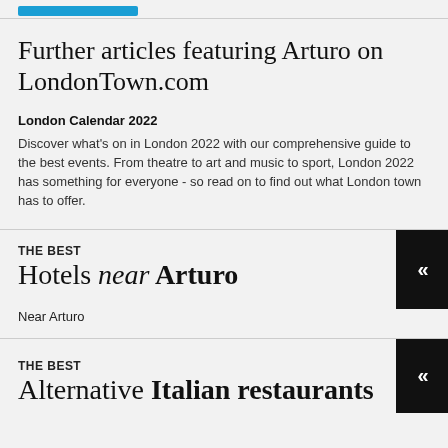Further articles featuring Arturo on LondonTown.com
London Calendar 2022
Discover what's on in London 2022 with our comprehensive guide to the best events. From theatre to art and music to sport, London 2022 has something for everyone - so read on to find out what London town has to offer.
THE BEST Hotels near Arturo
Near Arturo
THE BEST Alternative Italian restaurants near Arturo